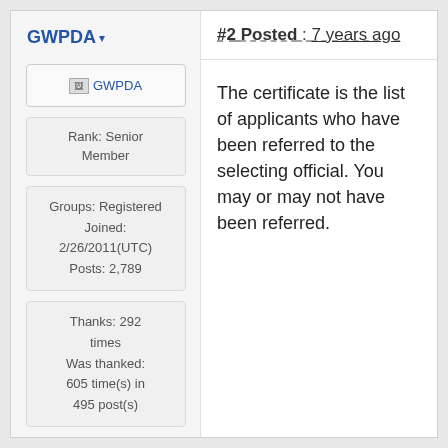GWPDA
#2 Posted : 7 years ago
[Figure (other): User avatar placeholder image for GWPDA]
Rank: Senior Member
Groups: Registered
Joined: 2/26/2011(UTC)
Posts: 2,789
Thanks: 292 times
Was thanked: 605 time(s) in 495 post(s)
The certificate is the list of applicants who have been referred to the selecting official. You may or may not have been referred.